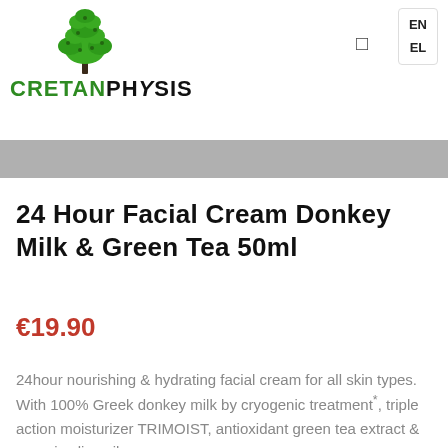CRETANPHYSIS
24 Hour Facial Cream Donkey Milk & Green Tea 50ml
€19.90
24hour nourishing & hydrating facial cream for all skin types. With 100% Greek donkey milk by cryogenic treatment*, triple action moisturizer TRIMOIST, antioxidant green tea extract & organic olive oil.